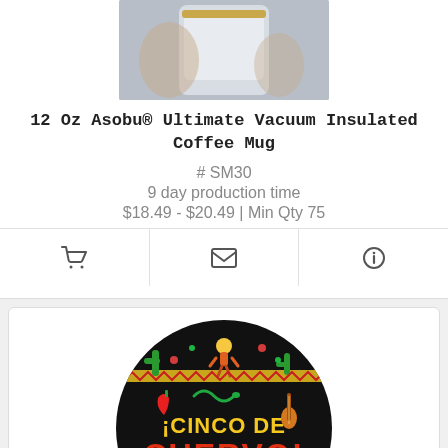[Figure (photo): Person holding a white coffee mug with gold rim, cropped to show hands and mug]
12 Oz Asobu® Ultimate Vacuum Insulated Coffee Mug
# SM30
9 day production time
$18.49 - $20.49 | Min Qty 75
[Figure (illustration): Round black sticker/button with Cinco de Cuervo festive design featuring colorful Mexican motifs and text]
[Figure (logo): Shopping cart icon, envelope icon, and info icon action buttons]